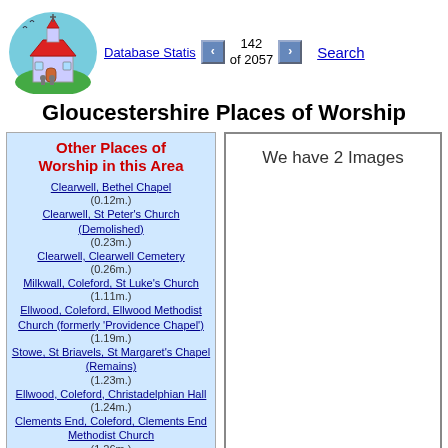[Figure (illustration): Clipart of a church building with a cross on the steeple, red roof, and blue birds, surrounded by green grass]
Database Statis  < 142 of 2057 >  Search
Gloucestershire Places of Worship
Other Places of Worship in this Area
Clearwell, Bethel Chapel (0.12m.)
Clearwell, St Peter's Church (Demolished) (0.23m.)
Clearwell, Clearwell Cemetery (0.26m.)
Milkwall, Coleford, St Luke's Church (1.11m.)
Ellwood, Coleford, Ellwood Methodist Church (formerly 'Providence Chapel') (1.19m.)
Stowe, St Briavels, St Margaret's Chapel (Remains) (1.23m.)
Ellwood, Coleford, Christadelphian Hall (1.24m.)
Clements End, Coleford, Clements End Methodist Church (1.26m.)
Coleford, St Margaret Mary Church (RC) (1.38m.)
Newland, All Saints Church (1.5m.)
We have 2 Images